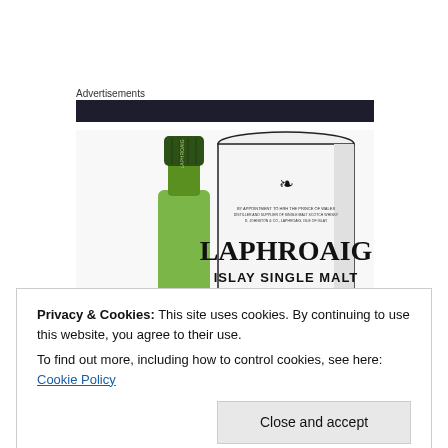Advertisements
[Figure (photo): Laphroaig Islay Single Malt Scotch whisky bottle (green, with dark green cap labeled LAPHROAIG) next to a white cylindrical canister labeled LAPHROAIG ISLAY SINGLE MALT, with a royal crest emblem]
Privacy & Cookies: This site uses cookies. By continuing to use this website, you agree to their use.
To find out more, including how to control cookies, see here: Cookie Policy
Close and accept